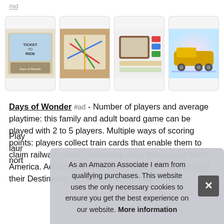#ad
[Figure (photo): Four thumbnail images of the Ticket to Ride board game: box cover, game board in play, game components layout, and artistic train illustration]
Days of Wonder #ad - Number of players and average playtime: this family and adult board game can be played with 2 to 5 players. Multiple ways of scoring points: players collect train cards that enable them to claim railway routes connecting cities throughout North America. Additional points come to those who can fulfill their Destination Tickets and to the player who...
Play... laur... nort...
As an Amazon Associate I earn from qualifying purchases. This website uses the only necessary cookies to ensure you get the best experience on our website. More information